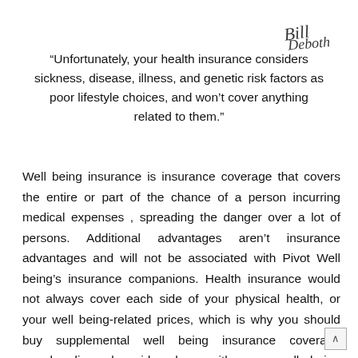[Figure (illustration): Handwritten signature in the top-right corner, appears to read 'Bill Deboth' or similar cursive name]
“Unfortunately, your health insurance considers sickness, disease, illness, and genetic risk factors as poor lifestyle choices, and won’t cover anything related to them.”
Well being insurance is insurance coverage that covers the entire or part of the chance of a person incurring medical expenses , spreading the danger over a lot of persons. Additional advantages aren’t insurance advantages and will not be associated with Pivot Well being’s insurance companions. Health insurance would not always cover each side of your physical health, or your well being-related prices, which is why you should buy supplemental well being insurance coverage merchandise alongside along with your well being insurance coverage plan. The ACA had a number of key targets : to increase the number